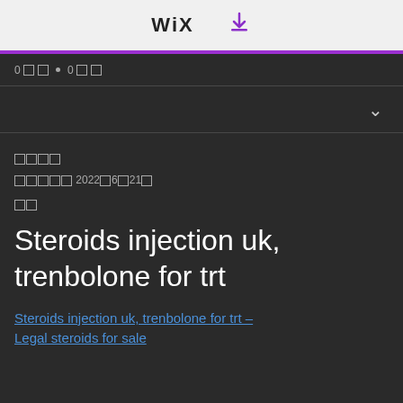WiX [download icon]
0 □□ • 0 □□
[Figure (screenshot): Dropdown row with chevron]
□□□□
□□□□□ 2022□6□21□
□□
Steroids injection uk, trenbolone for trt
Steroids injection uk, trenbolone for trt - Legal steroids for sale